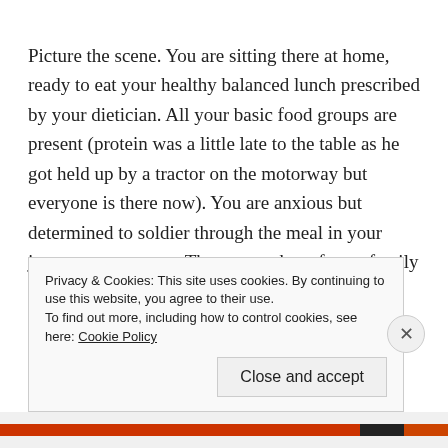Picture the scene. You are sitting there at home, ready to eat your healthy balanced lunch prescribed by your dietician. All your basic food groups are present (protein was a little late to the table as he got held up by a tractor on the motorway but everyone is there now). You are anxious but determined to soldier through the meal in your journey to recovery. Then a member of your family comes to join you. You smile and wave, grateful for the company, anticipating a nice bit of conversation to distract you from the eating disorder screaming at you not to pick up the fork, but then the family member sits
Privacy & Cookies: This site uses cookies. By continuing to use this website, you agree to their use.
To find out more, including how to control cookies, see here: Cookie Policy
Close and accept